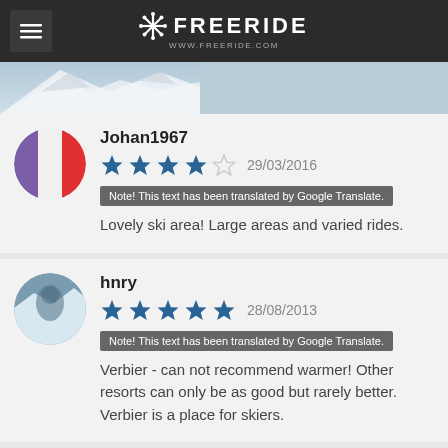FREERIDE www.freeride.com
[Figure (photo): Partial mountain/snow aerial photo strip]
Johan1967
4 stars, 29/03/2016
Note! This text has been translated by Google Translate.
Lovely ski area! Large areas and varied rides.
hnry
5 stars, 28/08/2013
Note! This text has been translated by Google Translate.
Verbier - can not recommend warmer! Other resorts can only be as good but rarely better. Verbier is a place for skiers.
Maggie (Guest)